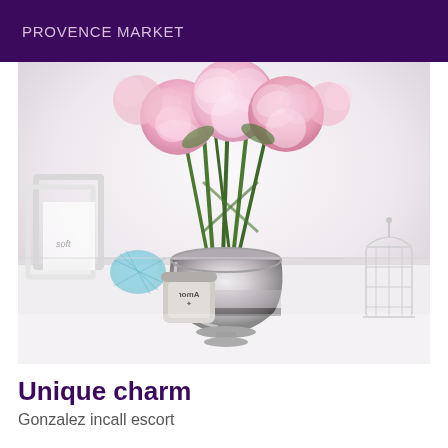PROVENCE MARKET
[Figure (photo): Pink peony flowers in a silver/chrome vase on a white marble surface, with a small candle jar labeled 'Amor', decorative birdcage, blue mesh decoration, and white frames in the background.]
Unique charm
Gonzalez incall escort